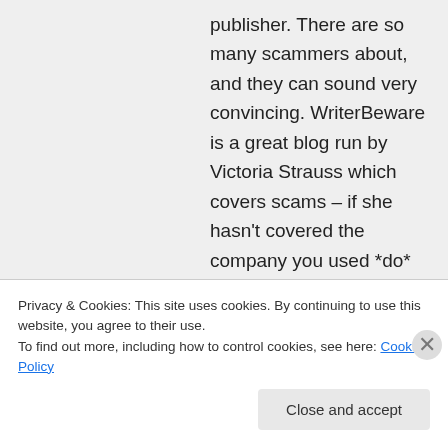publisher. There are so many scammers about, and they can sound very convincing. WriterBeware is a great blog run by Victoria Strauss which covers scams – if she hasn't covered the company you used *do* let her know so she can warn others. AbsoluteWrite is a great site for learning about the red flags publishers throw up before you submit your work; there are a lot of industry professionals there, not always openly, who will have an answer for your
Privacy & Cookies: This site uses cookies. By continuing to use this website, you agree to their use.
To find out more, including how to control cookies, see here: Cookie Policy
Close and accept